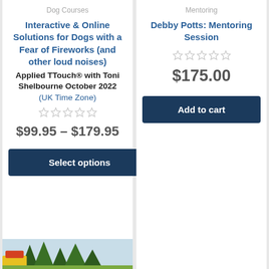Dog Courses
Interactive & Online Solutions for Dogs with a Fear of Fireworks (and other loud noises)
Applied TTouch® with Toni Shelbourne October 2022
(UK Time Zone)
★★★★★ (empty stars)
$99.95 – $179.95
Select options
Mentoring
Debby Potts: Mentoring Session
★★★★★ (empty stars)
$175.00
Add to cart
[Figure (photo): Partial image of outdoor scene with trees and colorful elements at the bottom of the page]